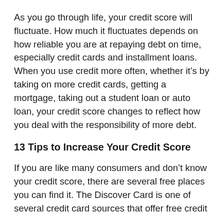As you go through life, your credit score will fluctuate. How much it fluctuates depends on how reliable you are at repaying debt on time, especially credit cards and installment loans. When you use credit more often, whether it’s by taking on more credit cards, getting a mortgage, taking out a student loan or auto loan, your credit score changes to reflect how you deal with the responsibility of more debt.
13 Tips to Increase Your Credit Score
If you are like many consumers and don’t know your credit score, there are several free places you can find it. The Discover Card is one of several credit card sources that offer free credit